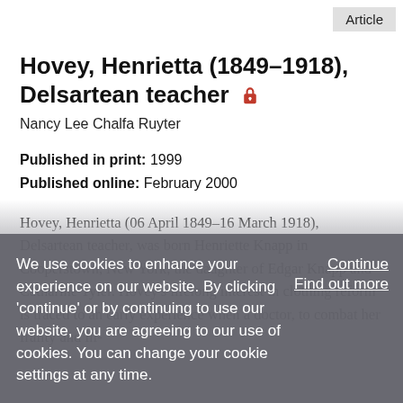Article
Hovey, Henrietta (1849–1918), Delsartean teacher 🔒
Nancy Lee Chalfa Ruyter
Published in print: 1999
Published online: February 2000
Hovey, Henrietta (06 April 1849–16 March 1918), Delsartean teacher, was born Henriette Knapp in Cooperstown, New York, the daughter of Edgar Knapp and Catharine Tyler. Hovey's lifelong interest in clothing reform is traced to an early experience when a doctor, to combat her frailty and ill-
We use cookies to enhance your experience on our website. By clicking 'continue' or by continuing to use our website, you are agreeing to our use of cookies. You can change your cookie settings at any time.